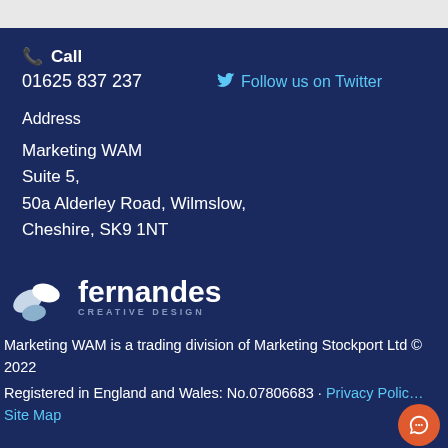Call
01625 837 237
Follow us on Twitter
Address
Marketing WAM
Suite 5,
50a Alderley Road, Wilmslow,
Cheshire, SK9 1NT
[Figure (logo): Fernandes Creative Design logo with leaf icon]
Marketing WAM is a trading division of Marketing Stockport Ltd © 2022
Registered in England and Wales: No.07806683 · Privacy Policy
Site Map